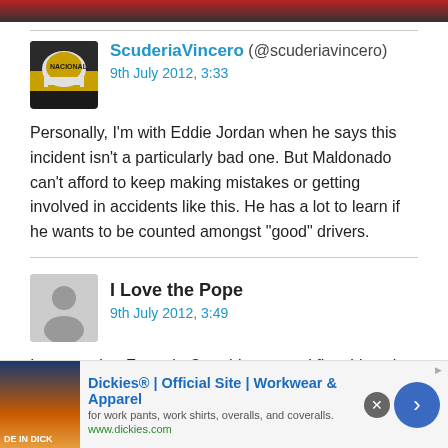ScuderiaVincero (@scuderiavincero)
9th July 2012, 3:33
Personally, I’m with Eddie Jordan when he says this incident isn’t a particularly bad one. But Maldonado can’t afford to keep making mistakes or getting involved in accidents like this. He has a lot to learn if he wants to be counted amongst “good” drivers.
I Love the Pope
9th July 2012, 3:49
It seems that Formula One drivers need five things in
[Figure (screenshot): Advertisement banner for Dickies workwear. Shows 'Dickies® | Official Site | Workwear & Apparel' with tagline 'for work pants, work shirts, overalls, and coveralls.' and URL www.dickies.com]